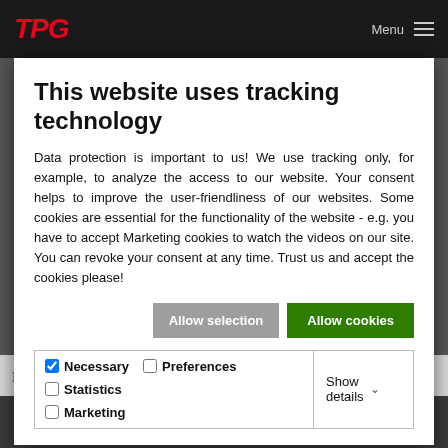[Figure (screenshot): TPG website header with red italic logo and Menu text with hamburger icon on dark background]
This website uses tracking technology
Data protection is important to us! We use tracking only, for example, to analyze the access to our website. Your consent helps to improve the user-friendliness of our websites. Some cookies are essential for the functionality of the website - e.g. you have to accept Marketing cookies to watch the videos on our site. You can revoke your consent at any time. Trust us and accept the cookies please!
Allow selection | Allow cookies
| Necessary | Preferences | Statistics | Show details |
| --- | --- | --- | --- |
| ☑ Necessary | ☐ Preferences | ☐ Statistics | Show details ∨ |
| ☐ Marketing |  |  |  |
renowned and powerful planning tool. It offers
DE   EN   FR